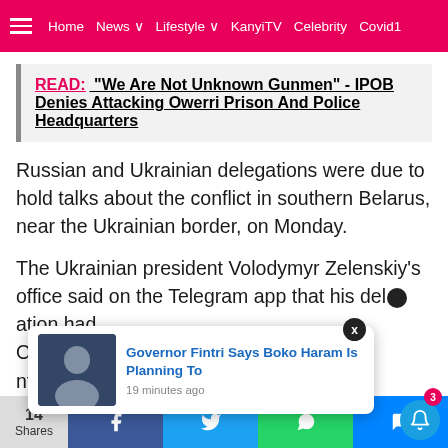Home  News  Lifestyle  KanyiTV  Celebrity  Covid1
READ:  "We Are Not Unknown Gunmen" - IPOB Denies Attacking Owerri Prison And Police Headquarters
Russian and Ukrainian delegations were due to hold talks about the conflict in southern Belarus, near the Ukrainian border, on Monday.
The Ukrainian president Volodymyr Zelenskiy's office said on the Telegram app that his delegation had [Oleksii] ...nt and th...
[Figure (screenshot): Popup notification: Governor Fintri Says Boko Haram Is Planning To — 19 minutes ago, with thumbnail of a person seated]
14 Shares | Facebook | Twitter | WhatsApp | Messenger